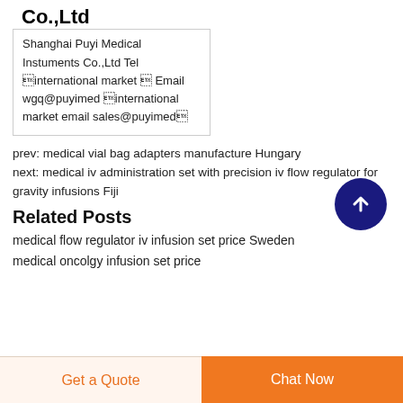Co.,Ltd
Shanghai Puyi Medical Instuments Co.,Ltd Tel international market  Email wgq@puyimed international market email sales@puyimed
prev: medical vial bag adapters manufacture Hungary
next: medical iv administration set with precision iv flow regulator for gravity infusions Fiji
Related Posts
medical flow regulator iv infusion set price Sweden
medical oncolgy infusion set price
Get a Quote   Chat Now